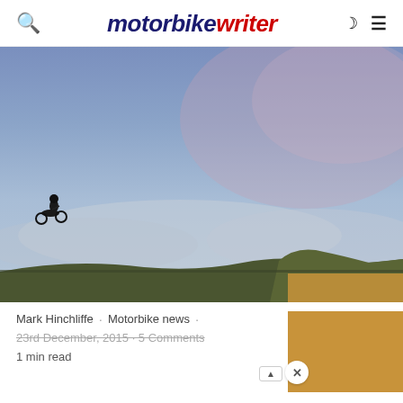motorbike writer
[Figure (photo): A motorbike jumping in the air against a dramatic blue-grey cloudy sky with hills in the background]
Mark Hinchliffe · Motorbike news ·
23rd December, 2015 · 5 Comments
1 min read